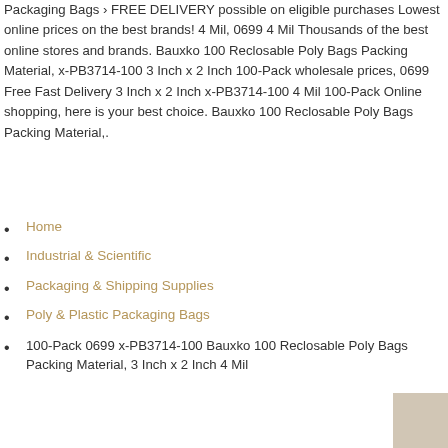Packaging Bags › FREE DELIVERY possible on eligible purchases Lowest online prices on the best brands! 4 Mil, 0699 4 Mil Thousands of the best online stores and brands. Bauxko 100 Reclosable Poly Bags Packing Material, x-PB3714-100 3 Inch x 2 Inch 100-Pack wholesale prices, 0699 Free Fast Delivery 3 Inch x 2 Inch x-PB3714-100 4 Mil 100-Pack Online shopping, here is your best choice. Bauxko 100 Reclosable Poly Bags Packing Material,.
Home
Industrial & Scientific
Packaging & Shipping Supplies
Poly & Plastic Packaging Bags
100-Pack 0699 x-PB3714-100 Bauxko 100 Reclosable Poly Bags Packing Material, 3 Inch x 2 Inch 4 Mil